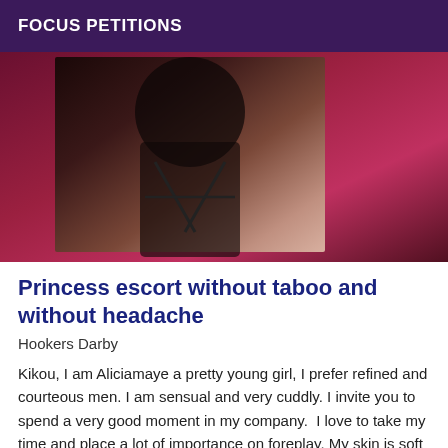FOCUS PETITIONS
[Figure (photo): A photo of a woman in black lingerie with red background]
Princess escort without taboo and without headache
Hookers Darby
Kikou, I am Aliciamaye a pretty young girl, I prefer refined and courteous men. I am sensual and very cuddly. I invite you to spend a very good moment in my company.  I love to take my time and place a lot of importance on foreplay. My skin is soft and fragrant. I receive you in a secure, calm and discreet apartment